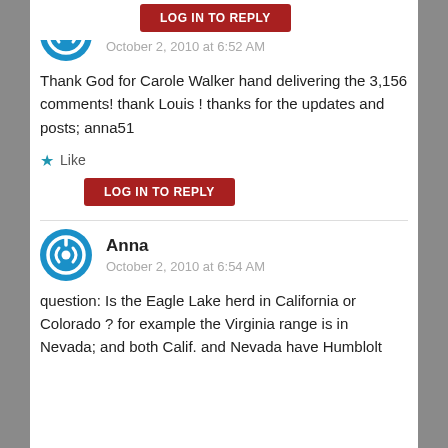[Figure (other): Partial red LOG IN TO REPLY button at top of page]
Anna
October 2, 2010 at 6:52 AM
Thank God for Carole Walker hand delivering the 3,156 comments! thank Louis ! thanks for the updates and posts; anna51
Like
[Figure (other): Red LOG IN TO REPLY button]
Anna
October 2, 2010 at 6:54 AM
question: Is the Eagle Lake herd in California or Colorado? for example the Virginia range is in Nevada; and both Calif. and Nevada have Humblolt